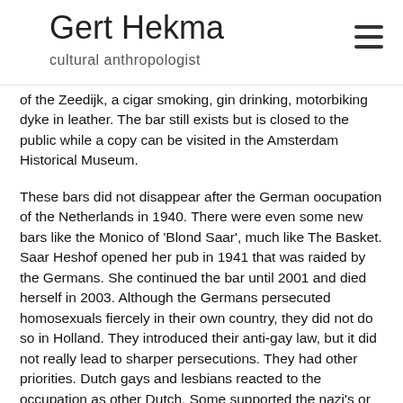Gert Hekma
cultural anthropologist
of the Zeedijk, a cigar smoking, gin drinking, motorbiking dyke in leather. The bar still exists but is closed to the public while a copy can be visited in the Amsterdam Historical Museum.
These bars did not disappear after the German oocupation of the Netherlands in 1940. There were even some new bars like the Monico of 'Blond Saar', much like The Basket. Saar Heshof opened her pub in 1941 that was raided by the Germans. She continued the bar until 2001 and died herself in 2003. Although the Germans persecuted homosexuals fiercely in their own country, they did not do so in Holland. They introduced their anti-gay law, but it did not really lead to sharper persecutions. They had other priorities. Dutch gays and lesbians reacted to the occupation as other Dutch. Some supported the nazi's or desired the angelic blond soldiers, others joined the resistance but most stayed neutral. The artist Arondeüs who had